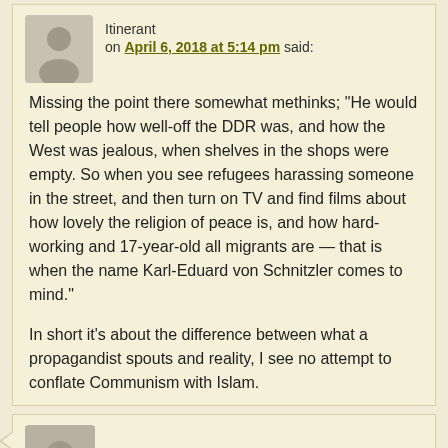Itinerant
on April 6, 2018 at 5:14 pm said:
Missing the point there somewhat methinks; "He would tell people how well-off the DDR was, and how the West was jealous, when shelves in the shops were empty. So when you see refugees harassing someone in the street, and then turn on TV and find films about how lovely the religion of peace is, and how hard-working and 17-year-old all migrants are — that is when the name Karl-Eduard von Schnitzler comes to mind."
In short it's about the difference between what a propagandist spouts and reality, I see no attempt to conflate Communism with Islam.